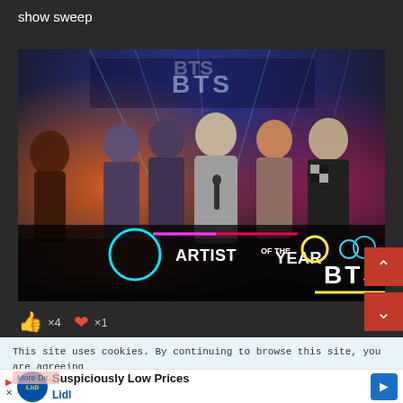show sweep
[Figure (photo): BTS receiving Artist of the Year award on stage. The group members are dressed in formal attire. A lower-third graphic overlay reads 'ARTIST OF THE YEAR' on the left and 'BTS' on the right, with decorative circles (cyan, yellow, teal) and colored lines.]
👍 ×4 ❤ ×1
This site uses cookies. By continuing to browse this site, you are agreeing to our use of cookies.
Suspiciously Low Prices Lidl